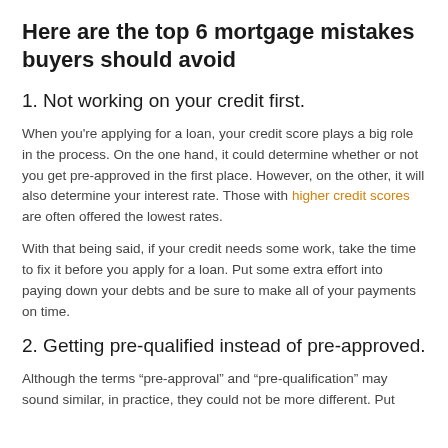Here are the top 6 mortgage mistakes buyers should avoid
1. Not working on your credit first.
When you're applying for a loan, your credit score plays a big role in the process. On the one hand, it could determine whether or not you get pre-approved in the first place. However, on the other, it will also determine your interest rate. Those with higher credit scores are often offered the lowest rates.
With that being said, if your credit needs some work, take the time to fix it before you apply for a loan. Put some extra effort into paying down your debts and be sure to make all of your payments on time.
2. Getting pre-qualified instead of pre-approved.
Although the terms “pre-approval” and “pre-qualification” may sound similar, in practice, they could not be more different. Put